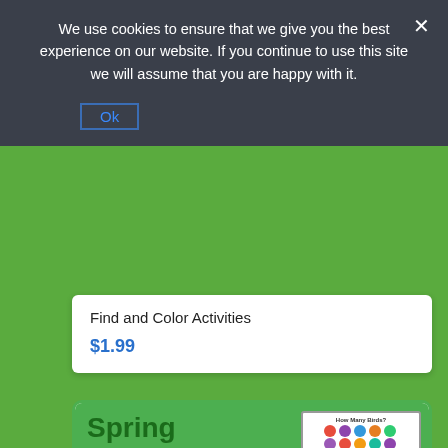We use cookies to ensure that we give you the best experience on our website. If you continue to use this site we will assume that you are happy with it.
Ok
Find and Color Activities
$1.99
[Figure (screenshot): Spring Visual Perceptual Puzzles product card with green background, large bold dark green title text, a thumbnail grid of colorful dots, subtitle '13 puzzles to challenge visual motor, visual closure, visual spatial and visual discrimination skills.' and four small sample worksheet cards at the bottom.]
13 puzzles to challenge visual motor, visual closure, visual spatial and visual discrimination skills.